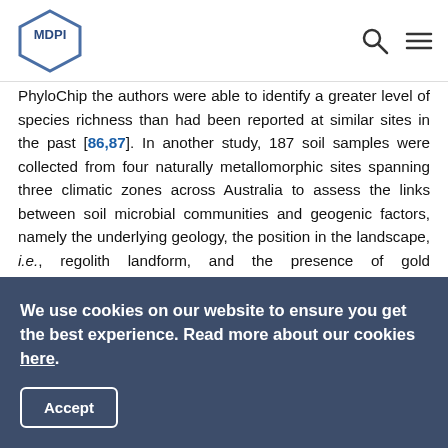MDPI
PhyloChip the authors were able to identify a greater level of species richness than had been reported at similar sites in the past [86,87]. In another study, 187 soil samples were collected from four naturally metallomorphic sites spanning three climatic zones across Australia to assess the links between soil microbial communities and geogenic factors, namely the underlying geology, the position in the landscape, i.e., regolith landform, and the presence of gold mineralization [54]. Field fresh soils and soils incubated with soluble gold(III)-complexes were analyzed using a polyphasic approach consisting of three-domain M-TRFLP combined with high-density phylogenetic (PhyloChip) and functional (GeoChip) microarrays. Geogenic
We use cookies on our website to ensure you get the best experience. Read more about our cookies here.
Accept